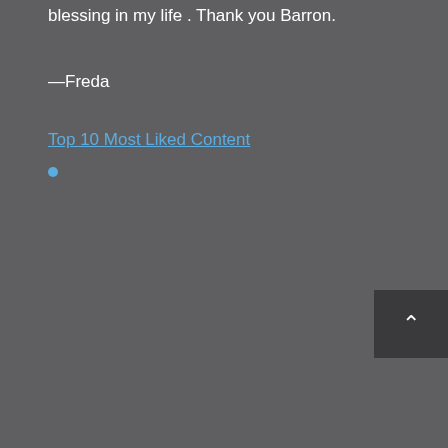blessing in my life . Thank you Barron.
—Freda
Top 10 Most Liked Content
•